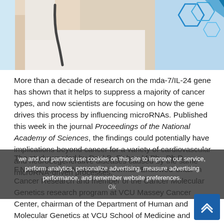[Figure (photo): Partial view of a person in a lab coat holding a stethoscope, with blue digital hexagon graphics in the background on the right side. Medical/science themed header image.]
More than a decade of research on the mda-7/IL-24 gene has shown that it helps to suppress a majority of cancer types, and now scientists are focusing on how the gene drives this process by influencing microRNAs. Published this week in the journal Proceedings of the National Academy of Sciences, the findings could potentially have implications beyond cancer for a variety of cardiovascular and neurodegenerative diseases caused by the same microRNA-driven processes.
The study was led by Paul B. Fisher, M.Ph., Ph.D., F.N.A.I., Thelma Newmeyer Corman Endowed Chair in Cancer Research and member of the Cancer Molecular Genetics research program at VCU Massey Cancer Center, chairman of the Department of Human and Molecular Genetics at VCU School of Medicine and director of the VCU Institute of Molecular Medicine (VIMM). The mda-7/IL-24 gene was originally discovered by Fisher, and he and his colleagues have since published a number of studies detailing how the gene can suppress cancer by directly influencing two important mediators of
we and our partners use cookies on this site to improve our service, perform analytics, personalize advertising, measure advertising performance, and remember website preferences.
Ok